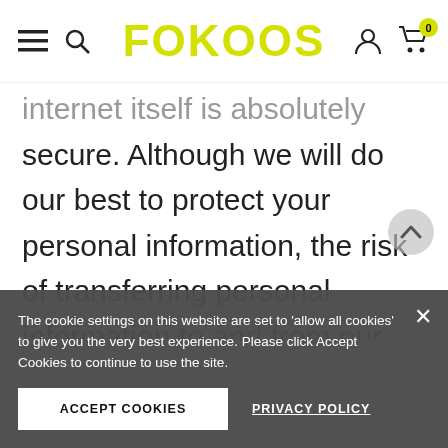FOKOOS
internet itself is absolutely secure. Although we will do our best to protect your personal information, the risk of transferring personal information to and from our website is at your own risk. You should only access the service in a secure environment.
The cookie settings on this website are set to 'allow all cookies' to give you the very best experience. Please click Accept Cookies to continue to use the site.
ACCEPT COOKIES
PRIVACY POLICY